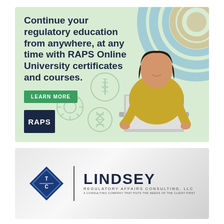[Figure (illustration): RAPS Online University advertisement banner. Light green background with decorative concentric circles in blue, tan, and green on the top right. Bold dark navy headline text: 'Continue your regulatory education from anywhere, at any time with RAPS Online University certificates and courses.' A green 'LEARN MORE' button. Medical/science icons (caduceus, DNA, virus) overlaid as light watermark icons. A woman in a yellow top working on a laptop. RAPS logo (white text on dark navy square) in the bottom left.]
[Figure (logo): Lindsey Regulatory Affairs Consulting, LLC logo. A dark blue diamond shape with stylized 'LC' or 'TC' letters in white. A vertical dark divider line. Large bold navy 'LINDSEY' text. Below: 'Regulatory Affairs Consulting, LLC' in small spaced caps. Below that: smaller gray tagline text. Set on a silver/gray gradient background.]